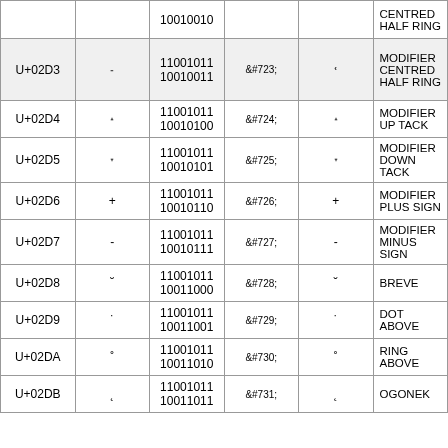| Code | Char | Binary | HTML Entity | Char | Name |
| --- | --- | --- | --- | --- | --- |
|  |  | 10010010 |  |  | CENTRED HALF RING |
| U+02D3 | ˓ | 11001011 10010011 | &#723; | ˓ | MODIFIER CENTRED HALF RING |
| U+02D4 | ˔ | 11001011 10010100 | &#724; | ˔ | MODIFIER UP TACK |
| U+02D5 | ˕ | 11001011 10010101 | &#725; | ˕ | MODIFIER DOWN TACK |
| U+02D6 | ˖ | 11001011 10010110 | &#726; | ˖ | MODIFIER PLUS SIGN |
| U+02D7 | ˗ | 11001011 10010111 | &#727; | ˗ | MODIFIER MINUS SIGN |
| U+02D8 | ˘ | 11001011 10011000 | &#728; | ˘ | BREVE |
| U+02D9 | ˙ | 11001011 10011001 | &#729; | ˙ | DOT ABOVE |
| U+02DA | ˚ | 11001011 10011010 | &#730; | ˚ | RING ABOVE |
| U+02DB | ˛ | 11001011 10011011 | &#731; | ˛ | OGONEK |